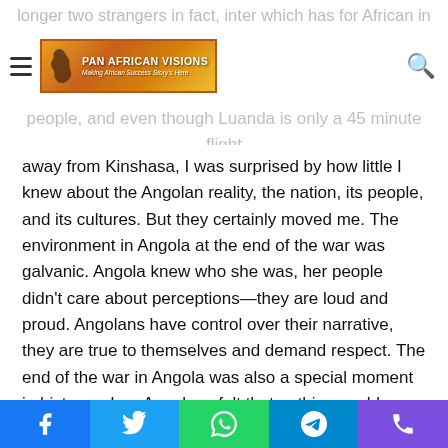Pan African Visions — Making Africa Success Story's Here
away from Kinshasa, I was surprised by how little I knew about the Angolan reality, the nation, its people, and its cultures. But they certainly moved me. The environment in Angola at the end of the war was galvanic. Angola knew who she was, her people didn't care about perceptions—they are loud and proud. Angolans have control over their narrative, they are true to themselves and demand respect. The end of the war in Angola was also a special moment in history, when Angolans felt that nothing could defeat them.
The other event that I remember having an impact on me was a visit I made to Paris. My family was looking to buy an apartment there. We viewed a very beautiful apartment
Social share buttons: Facebook, Twitter, WhatsApp, Telegram, Phone